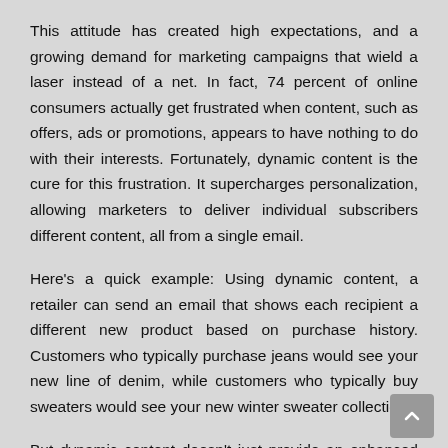This attitude has created high expectations, and a growing demand for marketing campaigns that wield a laser instead of a net. In fact, 74 percent of online consumers actually get frustrated when content, such as offers, ads or promotions, appears to have nothing to do with their interests. Fortunately, dynamic content is the cure for this frustration. It supercharges personalization, allowing marketers to deliver individual subscribers different content, all from a single email.
Here's a quick example: Using dynamic content, a retailer can send an email that shows each recipient a different new product based on purchase history. Customers who typically purchase jeans would see your new line of denim, while customers who typically buy sweaters would see your new winter sweater collection.
But dynamic content doesn't just provide an enhanced experience for customers. It's a game-changer for email marketers, too. By